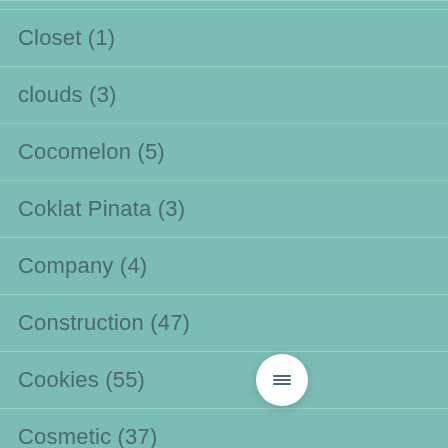Closet (1)
clouds (3)
Cocomelon (5)
Coklat Pinata (3)
Company (4)
Construction (47)
Cookies (55)
Cosmetic (37)